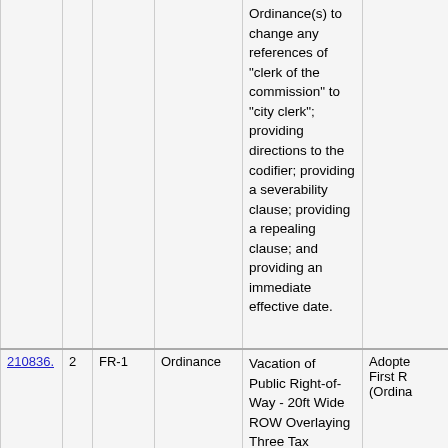| ID | Num | Type1 | Type2 | Description | Status |
| --- | --- | --- | --- | --- | --- |
|  |  |  |  | Ordinance(s) to change any references of "clerk of the commission" to "city clerk"; providing directions to the codifier; providing a severability clause; providing a repealing clause; and providing an immediate effective date. | Adopted First R (Ordin... |
| 210836. | 2 | FR-1 | Ordinance | Vacation of Public Right-of-Way - 20ft Wide ROW Overlaying Three Tax Parcels Located in the 200 Block of NW 1st | Adopte First R (Ordina |